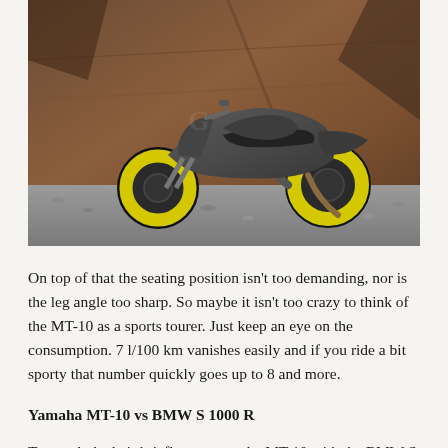[Figure (photo): Yamaha MT-10 motorcycle with yellow wheels parked on a gravel surface in front of a rusted metal wall/sculpture background. The bike is gray/dark colored with striking yellow wheel rims.]
On top of that the seating position isn't too demanding, nor is the leg angle too sharp. So maybe it isn't too crazy to think of the MT-10 as a sports tourer. Just keep an eye on the consumption. 7 l/100 km vanishes easily and if you ride a bit sporty that number quickly goes up to 8 and more.
Yamaha MT-10 vs BMW S 1000 R
To conclude, let's briefly compare the MT-10 with the BMW S